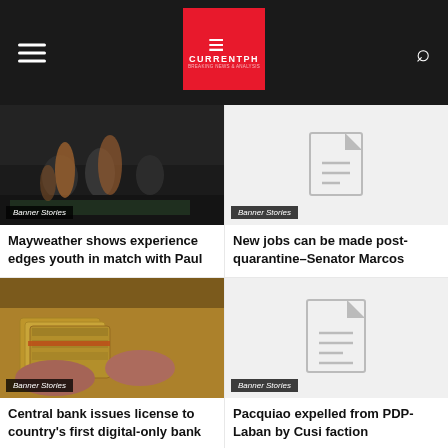CURRENTPH navigation bar with hamburger menu and search icon
[Figure (photo): Photo of people in a gym/boxing environment, dark toned image]
Banner Stories
Mayweather shows experience edges youth in match with Paul
[Figure (photo): Placeholder image with document icon for second story]
Banner Stories
New jobs can be made post-quarantine–Senator Marcos
[Figure (photo): Photo of hands holding bundled Philippine peso bills]
Banner Stories
Central bank issues license to country's first digital-only bank
[Figure (photo): Placeholder image with document icon for fourth story]
Banner Stories
Pacquiao expelled from PDP-Laban by Cusi faction